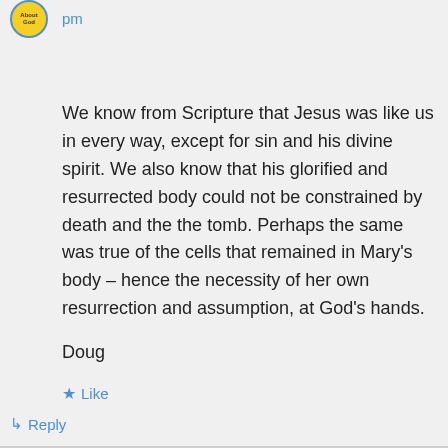[Figure (illustration): Small circular avatar with yellow background and blue border, containing small text logo]
pm
We know from Scripture that Jesus was like us in every way, except for sin and his divine spirit. We also know that his glorified and resurrected body could not be constrained by death and the the tomb. Perhaps the same was true of the cells that remained in Mary's body – hence the necessity of her own resurrection and assumption, at God's hands.
Doug
★ Like
↳ Reply